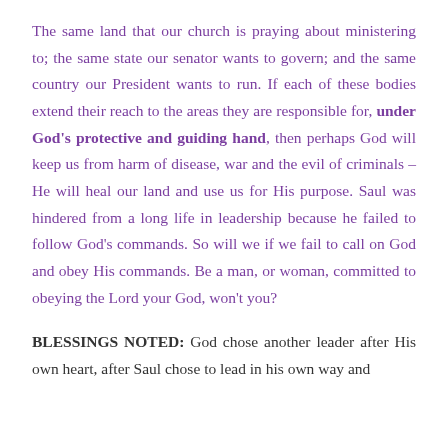The same land that our church is praying about ministering to; the same state our senator wants to govern; and the same country our President wants to run. If each of these bodies extend their reach to the areas they are responsible for, under God's protective and guiding hand, then perhaps God will keep us from harm of disease, war and the evil of criminals – He will heal our land and use us for His purpose. Saul was hindered from a long life in leadership because he failed to follow God's commands. So will we if we fail to call on God and obey His commands. Be a man, or woman, committed to obeying the Lord your God, won't you?
BLESSINGS NOTED: God chose another leader after His own heart, after Saul chose to lead in his own way and